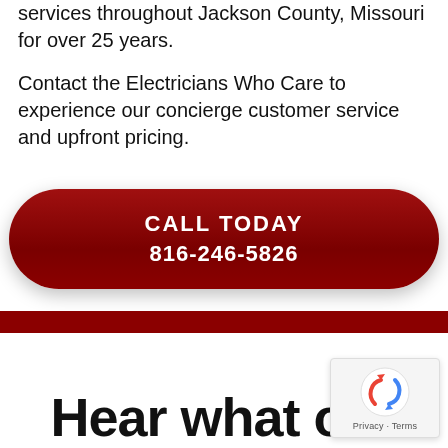services throughout Jackson County, Missouri for over 25 years.
Contact the Electricians Who Care to experience our concierge customer service and upfront pricing.
[Figure (other): Dark red pill-shaped call-to-action button with white bold text reading CALL TODAY and 816-246-5826]
[Figure (other): Dark red horizontal divider bar spanning the full width of the page]
Hear what our
[Figure (other): reCAPTCHA privacy badge in bottom right corner showing the reCAPTCHA icon and Privacy · Terms text]